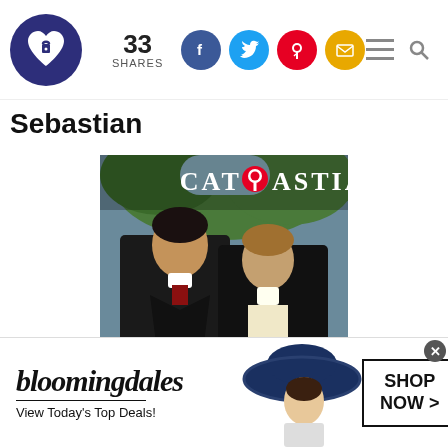33 SHARES — social share bar with Facebook, Twitter, Pinterest, Email icons and navigation icons
Sebastian
[Figure (photo): Book cover for Cat Sebastian — two men in Regency-era formal attire facing each other closely, outdoors with trees. Text reads 'Cat Sebastian' at top with Pinterest logo as the 'o'. Quote: 'Cat Sebastian has a place on my keeper shelf!' –TESSA DARE. Avon Impulse logo at bottom left.]
[Figure (screenshot): Bloomingdale's advertisement banner: 'bloomingdales / View Today's Top Deals!' with SHOP NOW > button and image of woman in wide-brim hat.]